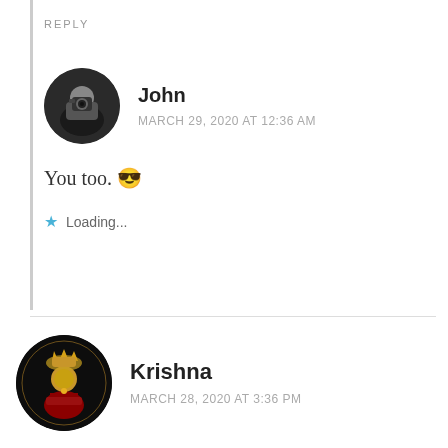REPLY
John
MARCH 29, 2020 AT 12:36 AM
You too. 😎
★ Loading...
Krishna
MARCH 28, 2020 AT 3:36 PM
Lovely 🙂
★ Loading...